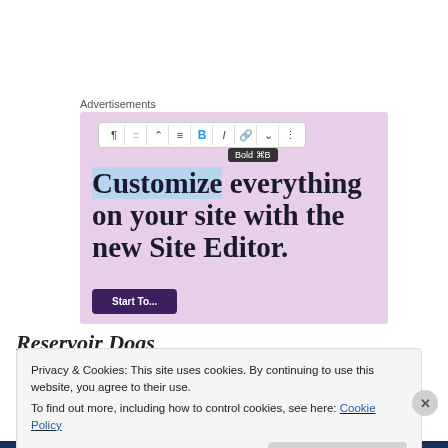Advertisements
[Figure (screenshot): WordPress site editor advertisement screenshot showing a toolbar with Bold (⌘B) tooltip active, and large serif text 'Customize everything on your site with the new Site Editor.' on a pink background, with a purple Start Today button at bottom.]
Reservoir Dogs
Privacy & Cookies: This site uses cookies. By continuing to use this website, you agree to their use.
To find out more, including how to control cookies, see here: Cookie Policy
Close and accept